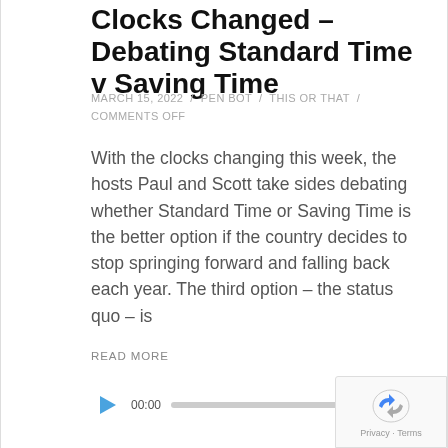Clocks Changed – Debating Standard Time v Saving Time
MARCH 15, 2022 / PEN BOT / THIS OR THAT / COMMENTS OFF
With the clocks changing this week, the hosts Paul and Scott take sides debating whether Standard Time or Saving Time is the better option if the country decides to stop springing forward and falling back each year. The third option – the status quo – is
READ MORE
[Figure (other): Audio player with play button, time display 00:00, progress bar, and end time 00:00]